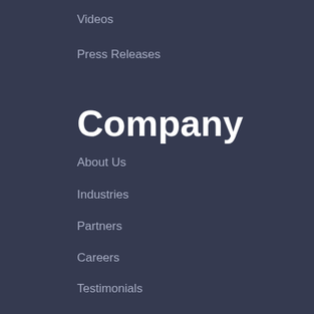Videos
Press Releases
Company
About Us
Industries
Partners
Careers
Testimonials
Follow Us!